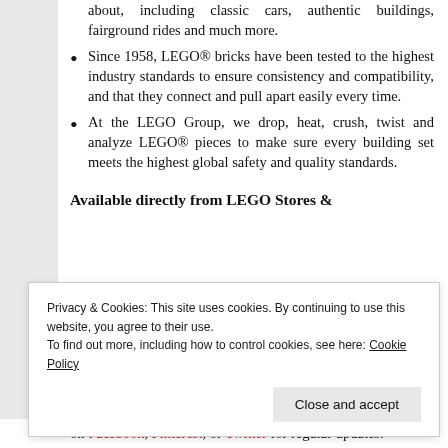about, including classic cars, authentic buildings, fairground rides and much more.
Since 1958, LEGO® bricks have been tested to the highest industry standards to ensure consistency and compatibility, and that they connect and pull apart easily every time.
At the LEGO Group, we drop, heat, crush, twist and analyze LEGO® pieces to make sure every building set meets the highest global safety and quality standards.
Available directly from LEGO Stores &
Privacy & Cookies: This site uses cookies. By continuing to use this website, you agree to their use.
To find out more, including how to control cookies, see here: Cookie Policy
on Facebook, Pinterest, or Twitter for regular updates.